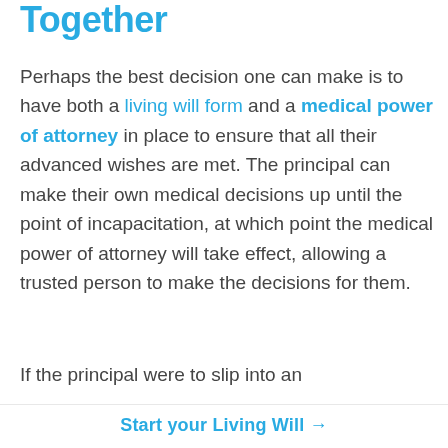Together
Perhaps the best decision one can make is to have both a living will form and a medical power of attorney in place to ensure that all their advanced wishes are met. The principal can make their own medical decisions up until the point of incapacitation, at which point the medical power of attorney will take effect, allowing a trusted person to make the decisions for them.
If the principal were to slip into an
Start your Living Will →